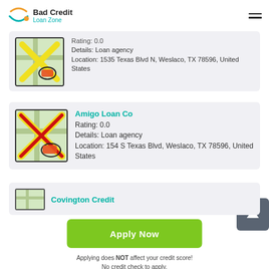Bad Credit Loan Zone
[Figure (screenshot): Partial listing card at top - map pin icon with rating and location info. Rating: 0.0, Details: Loan agency, Location: 1535 Texas Blvd N, Weslaco, TX 78596, United States]
Amigo Loan Co
Rating: 0.0
Details: Loan agency
Location: 154 S Texas Blvd, Weslaco, TX 78596, United States
Covington Credit
Apply Now
Applying does NOT affect your credit score!
No credit check to apply.